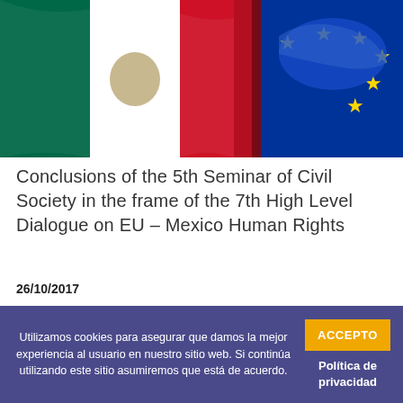[Figure (photo): Combined image of Mexico flag and EU flag with yellow stars on blue background]
Conclusions of the 5th Seminar of Civil Society in the frame of the 7th High Level Dialogue on EU – Mexico Human Rights
26/10/2017
[Figure (illustration): Purple promotional image with illustrated woman's face and text: 25 November International Day for the Elimination]
Utilizamos cookies para asegurar que damos la mejor experiencia al usuario en nuestro sitio web. Si continúa utilizando este sitio asumiremos que está de acuerdo.
ACCEPTO
Política de privacidad